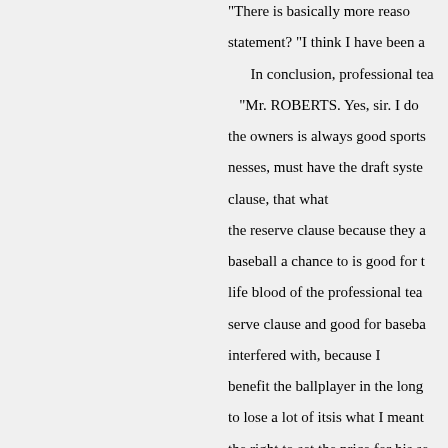"There is basically more reaso statement? "I think I have been a In conclusion, professional tea "Mr. ROBERTS. Yes, sir. I do the owners is always good sports nesses, must have the draft syste clause, that what the reserve clause because they a baseball a chance to is good for t life blood of the professional tea serve clause and good for baseba interfered with, because I benefit the ballplayer in the long to lose a lot of itsis what I meant the right to set the price for his se The subcommittee also heard and it is going to dis- Yost, star t profesrupt it by a lot of technical sions there is not always that fre